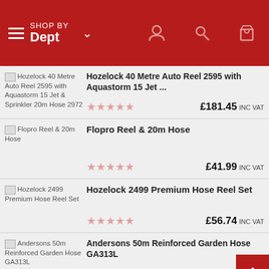SHOP BY Dept
Hozelock 40 Metre Auto Reel 2595 with Aquastorm 15 Jet ... — ★★★★★ — £181.45 INC VAT
Flopro Reel & 20m Hose — ★★★★★ — £41.99 INC VAT
Hozelock 2499 Premium Hose Reel Set — ★★★★★ — £56.74 INC VAT
Andersons 50m Reinforced Garden Hose GA313L — ★★★★★ — £33.58 INC VAT